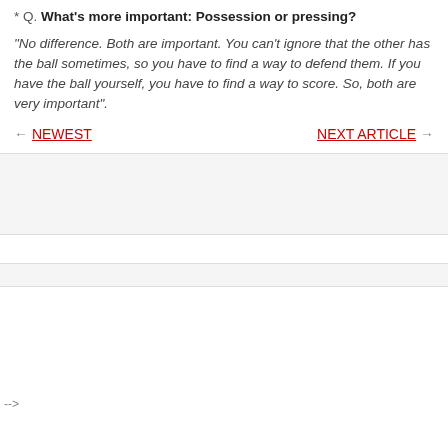* Q. What's more important: Possession or pressing?
"No difference. Both are important. You can't ignore that the other has the ball sometimes, so you have to find a way to defend them. If you have the ball yourself, you have to find a way to score. So, both are very important".
← NEWEST    NEXT ARTICLE →